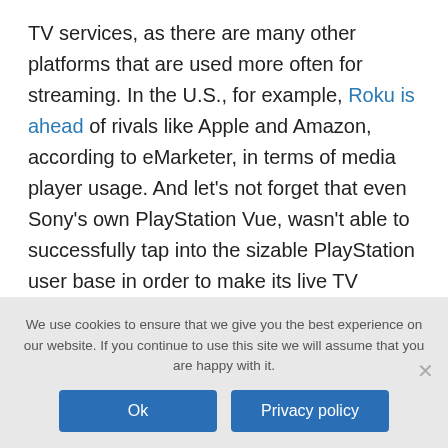TV services, as there are many other platforms that are used more often for streaming. In the U.S., for example, Roku is ahead of rivals like Apple and Amazon, according to eMarketer, in terms of media player usage. And let's not forget that even Sony's own PlayStation Vue, wasn't able to successfully tap into the sizable PlayStation user base in order to make its live TV service work. PlayStation Vue shut down for good in January.
Hulu says PS4 owners who already stream through
We use cookies to ensure that we give you the best experience on our website. If you continue to use this site we will assume that you are happy with it.